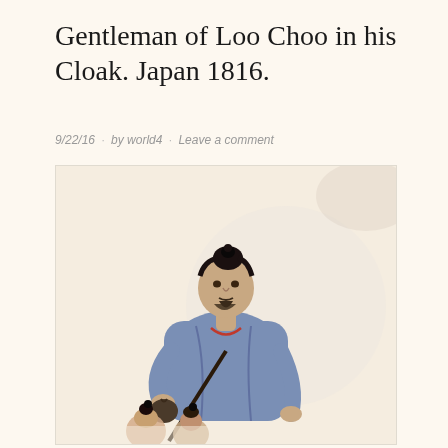Gentleman of Loo Choo in his Cloak. Japan 1816.
9/22/16 · by world4 · Leave a comment
[Figure (illustration): Historical illustration of a gentleman from Loo Choo (Ryukyu/Okinawa) wearing a blue cloak and holding a staff, with a traditional topknot hairstyle and beard. Two smaller figures visible in the lower foreground. Japan, 1816.]